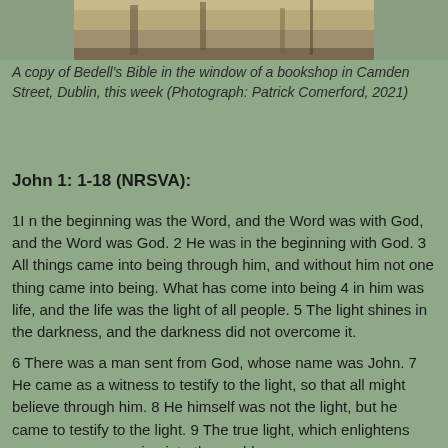[Figure (photo): Partial view of a copy of Bedell's Bible in a bookshop window, showing the spine and cover of an old book against a wooden surface.]
A copy of Bedell's Bible in the window of a bookshop in Camden Street, Dublin, this week (Photograph: Patrick Comerford, 2021)
John 1: 1-18 (NRSVA):
1I n the beginning was the Word, and the Word was with God, and the Word was God. 2 He was in the beginning with God. 3 All things came into being through him, and without him not one thing came into being. What has come into being 4 in him was life, and the life was the light of all people. 5 The light shines in the darkness, and the darkness did not overcome it.
6 There was a man sent from God, whose name was John. 7 He came as a witness to testify to the light, so that all might believe through him. 8 He himself was not the light, but he came to testify to the light. 9 The true light, which enlightens everyone, was coming into the world.